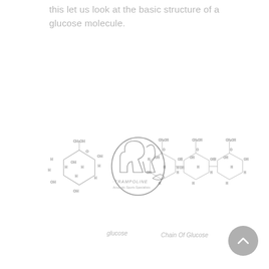this let us look at the basic structure of a glucose molecule.
[Figure (schematic): Structural diagrams of glucose molecule and a chain of glucose molecules. Left: a single glucose ring structure labeled 'glucose'. Center: a JR Trampoline Acrobatic Sports Specialists watermark/logo overlaid. Right: a chain of three glucose ring structures labeled 'Chain Of Glucose'.]
glucose
Chain Of Glucose